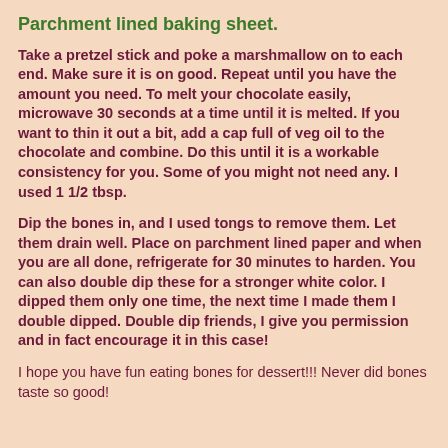Parchment lined baking sheet.
Take a pretzel stick and poke a marshmallow on to each end.  Make sure it is on good.  Repeat until you have the amount you need.  To melt your chocolate easily, microwave 30 seconds at a time until it is melted. If you want to thin it out a bit, add a cap full of veg oil to the chocolate and combine.  Do this until it is a workable consistency for you.  Some of you might not need any.  I used 1 1/2 tbsp.
Dip the bones in, and I used tongs to remove them.  Let them drain well.   Place on parchment lined paper and when you are all done, refrigerate for 30 minutes to harden.  You can also double dip these for a stronger white color.  I dipped them only one time, the next time I made them I double dipped.  Double dip friends, I give you permission and in fact encourage it in this case!
I hope you have fun eating bones for dessert!!!  Never did bones taste so good!